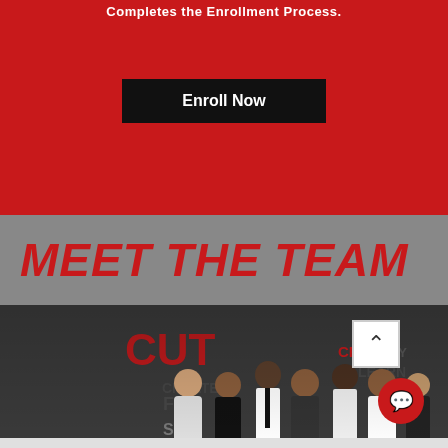Completes the Enrollment Process.
Enroll Now
MEET THE TEAM
[Figure (photo): Group photo of seven team members posed in front of a backdrop with words CUT, CREATE, DRY, FUN, LEARN, STYLE. Members dressed formally in black and white attire.]